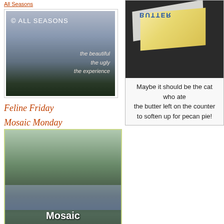All Seasons
[Figure (photo): All Seasons blog banner with cloudy sky and dark tree silhouettes. Text: © ALL SEASONS, the beautiful, the ugly, the experience]
Feline Friday
Mosaic Monday
[Figure (photo): Mosaic Monday blog badge with tree reflected in river, text overlay: Mosaic Monday]
Saturday's Critters
Willy Nilly Friday
[Figure (photo): Upside-down BUTTER package wrapper on dark background]
Maybe it should be the cat who ate the butter left on the counter to soften up for pecan pie!